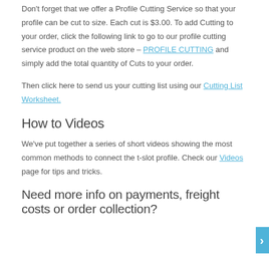Don't forget that we offer a Profile Cutting Service so that your profile can be cut to size. Each cut is $3.00. To add Cutting to your order, click the following link to go to our profile cutting service product on the web store – PROFILE CUTTING and simply add the total quantity of Cuts to your order.
Then click here to send us your cutting list using our Cutting List Worksheet.
How to Videos
We've put together a series of short videos showing the most common methods to connect the t-slot profile. Check our Videos page for tips and tricks.
Need more info on payments, freight costs or order collection?